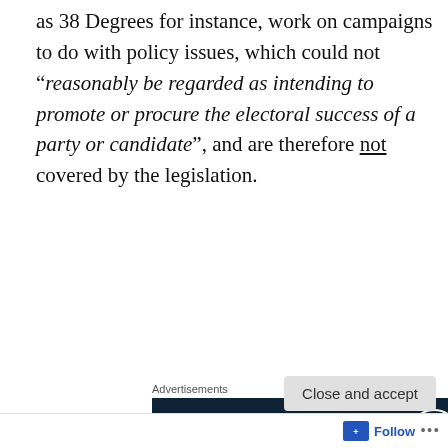as 38 Degrees for instance, work on campaigns to do with policy issues, which could not “reasonably be regarded as intending to promote or procure the electoral success of a party or candidate”, and are therefore not covered by the legislation.
[Figure (screenshot): Advertisement banner with dark navy background showing 'Opinions. We all have them.' text with WordPress and another circular logo on the right.]
Charities in particular have always been largely unable to take up what might be implicitly party political
Privacy & Cookies: This site uses cookies. By continuing to use this website, you agree to their use.
To find out more, including how to control cookies, see here: Cookie Policy